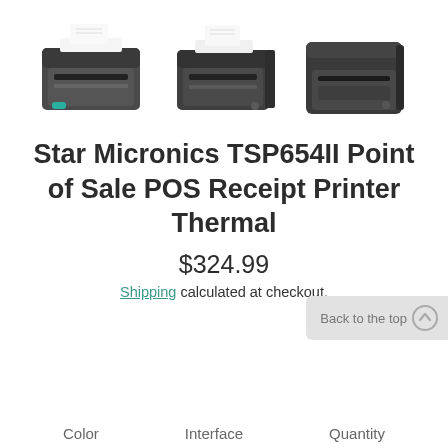[Figure (photo): Three views of Star Micronics TSP654II receipt printer — front-left angle, front-right angle, and rear perspective, all in dark grey/black]
Star Micronics TSP654II Point of Sale POS Receipt Printer Thermal
$324.99
Shipping calculated at checkout.
Back to the top ↑
Color   Interface   Quantity